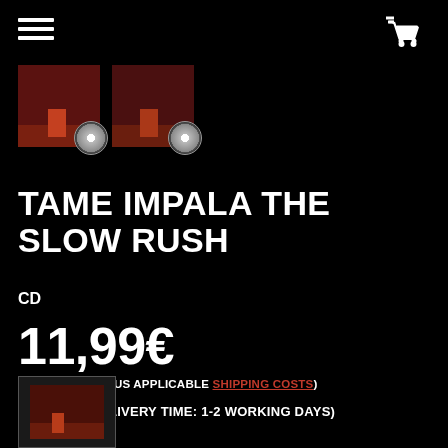[Figure (illustration): Hamburger menu icon (three horizontal white lines) in top left corner]
[Figure (illustration): Shopping cart icon in top right corner]
[Figure (photo): Two album cover thumbnails for Tame Impala The Slow Rush, showing a red-toned room with a door, each with a CD disc graphic overlay]
TAME IMPALA THE SLOW RUSH
CD
11,99€
INCL. TAXES (PLUS APPLICABLE SHIPPING COSTS)
IN STOCK (DELIVERY TIME: 1-2 WORKING DAYS)
[Figure (photo): Small album cover thumbnail at bottom left showing red-toned room]